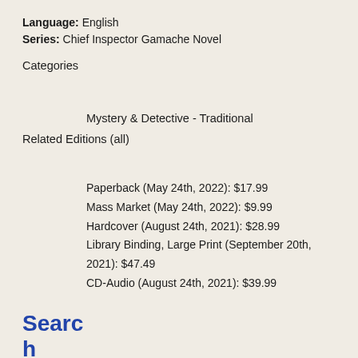Language: English
Series: Chief Inspector Gamache Novel
Categories
Mystery & Detective - Traditional
Related Editions (all)
Paperback (May 24th, 2022): $17.99
Mass Market (May 24th, 2022): $9.99
Hardcover (August 24th, 2021): $28.99
Library Binding, Large Print (September 20th, 2021): $47.49
CD-Audio (August 24th, 2021): $39.99
Search Audiobooks